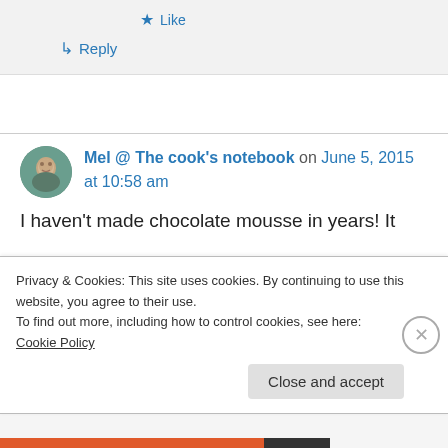★ Like
↳ Reply
Mel @ The cook's notebook on June 5, 2015 at 10:58 am
I haven't made chocolate mousse in years! It
Privacy & Cookies: This site uses cookies. By continuing to use this website, you agree to their use.
To find out more, including how to control cookies, see here: Cookie Policy
Close and accept